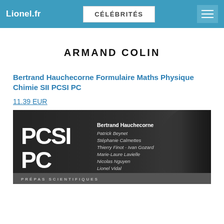Lionel.fr | CÉLÉBRITÉS
ARMAND COLIN
Bertrand Hauchecorne Formulaire Maths Physique Chimie SII PCSI PC
11.39 EUR
[Figure (photo): Book cover for 'Formulaire Maths Physique Chimie SII PCSI PC' showing PCSI PC in large white text on dark background, with authors: Bertrand Hauchecorne, Patrick Beynet, Stéphanie Calmettes, Thierry Finot - Ivan Gozard, Marie-Laure Lavielle, Nicolas Nguyen, Lionel Vidal, and a bottom strip reading PRÉPAS SCIENTIFIQUES]